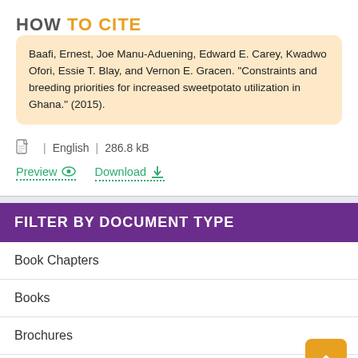HOW TO CITE
Baafi, Ernest, Joe Manu-Aduening, Edward E. Carey, Kwadwo Ofori, Essie T. Blay, and Vernon E. Gracen. "Constraints and breeding priorities for increased sweetpotato utilization in Ghana." (2015).
English | 286.8 kB
Preview  Download
FILTER BY DOCUMENT TYPE
Book Chapters
Books
Brochures
Case Studies
Conference Papers